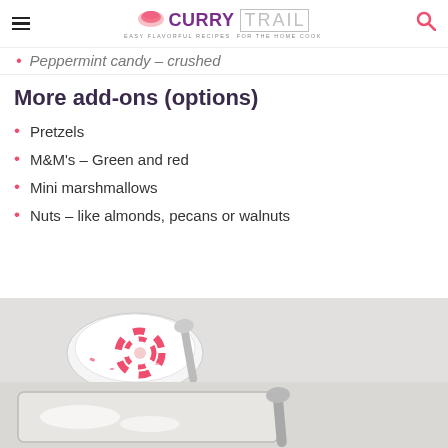Curry Trail — Easy Flavorful Recipes For The Home Cook
Peppermint candy – crushed
More add-ons (options)
Pretzels
M&M's – Green and red
Mini marshmallows
Nuts – like almonds, pecans or walnuts
[Figure (photo): Bowl with peppermint candy cane and crushed peppermint in a white bowl]
[Figure (photo): Baking dish with white powder and a spoon]